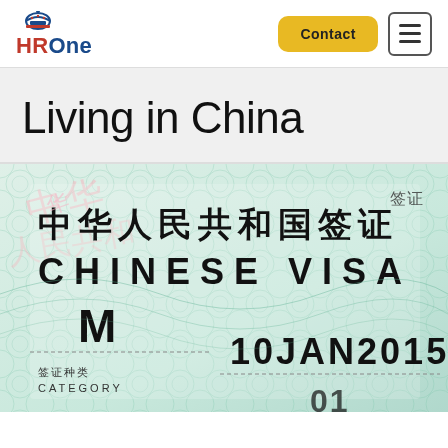HROne — Contact / Menu navigation header
Living in China
[Figure (photo): Close-up photograph of a Chinese visa document showing Chinese characters '中华人民共和国签证', text 'CHINESE VISA', category 'M', date '10JAN2015', and fields '签证种类 / CATEGORY' with decorative guilloche pattern background in teal/green.]